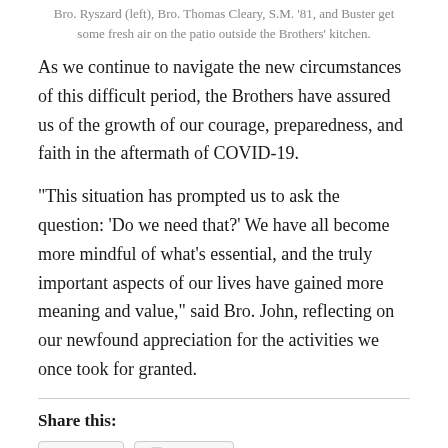Bro. Ryszard (left), Bro. Thomas Cleary, S.M. '81, and Buster get some fresh air on the patio outside the Brothers' kitchen.
As we continue to navigate the new circumstances of this difficult period, the Brothers have assured us of the growth of our courage, preparedness, and faith in the aftermath of COVID-19.
“This situation has prompted us to ask the question: ‘Do we need that?’ We have all become more mindful of what’s essential, and the truly important aspects of our lives have gained more meaning and value,” said Bro. John, reflecting on our newfound appreciation for the activities we once took for granted.
Share this: